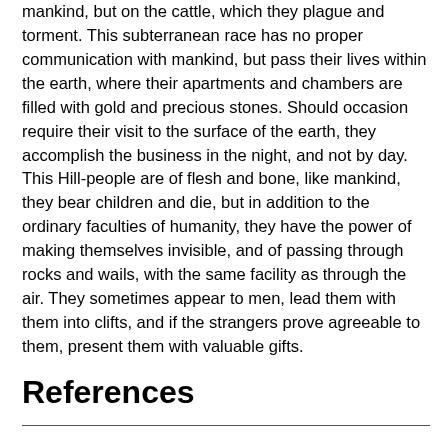mankind, but on the cattle, which they plague and torment. This subterranean race has no proper communication with mankind, but pass their lives within the earth, where their apartments and chambers are filled with gold and precious stones. Should occasion require their visit to the surface of the earth, they accomplish the business in the night, and not by day. This Hill-people are of flesh and bone, like mankind, they bear children and die, but in addition to the ordinary faculties of humanity, they have the power of making themselves invisible, and of passing through rocks and wails, with the same facility as through the air. They sometimes appear to men, lead them with them into clifts, and if the strangers prove agreeable to them, present them with valuable gifts.
References